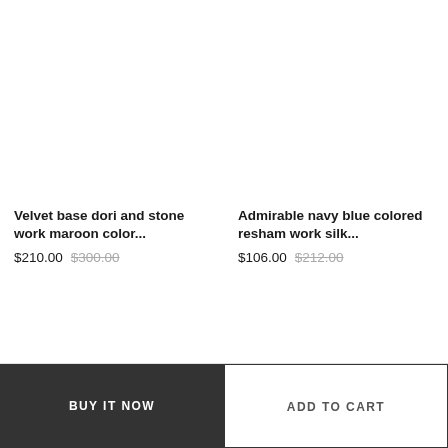Velvet base dori and stone work maroon color...
$210.00  $300.00
Admirable navy blue colored resham work silk...
$106.00  $212.00
BUY IT NOW
ADD TO CART